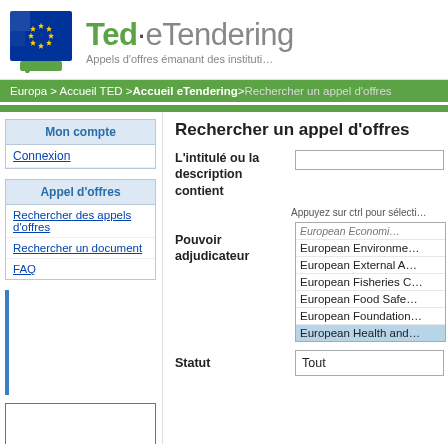[Figure (logo): EU flag logo and Ted eTendering site header with subtitle 'Appels d offres émanant des institutions']
Europa > Accueil TED > Accueil eTendering > Rechercher un appel d'offres
Mon compte
Connexion
Appel d'offres
Rechercher des appels d'offres
Rechercher un document
FAQ
Rechercher un appel d'offres
L'intitulé ou la description contient
Appuyez sur ctrl pour sélectionner
Pouvoir adjudicateur
European Economic...
European Environment...
European External A...
European Fisheries C...
European Food Safe...
European Foundation...
European Health and...
Statut
Tout